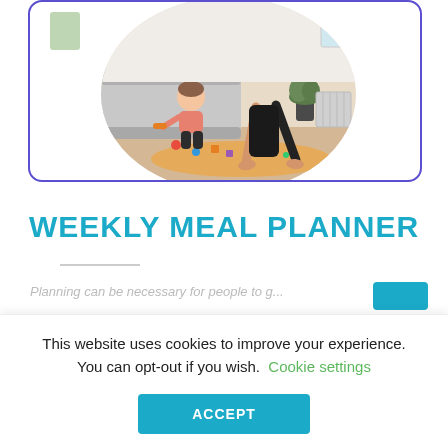[Figure (photo): A circular-cropped photo of a woman exercising on a yoga mat in a living room with a toddler nearby, toys scattered on the floor. The photo is inside a card with a purple/indigo border and a green square accent in the top left.]
WEEKLY MEAL PLANNER
Planning can be necessary for people to g...
This website uses cookies to improve your experience. You can opt-out if you wish. Cookie settings ACCEPT